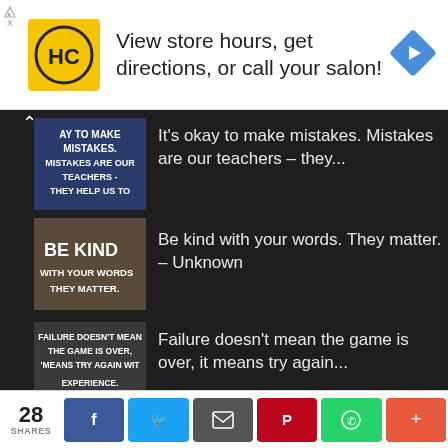[Figure (screenshot): Advertisement banner: HC salon logo (yellow square with HC letters), text 'View store hours, get directions, or call your salon!', blue diamond navigation arrow icon on right]
[Figure (screenshot): Thumbnail: dark blue image with white bold text 'AY TO MAKE MISTAKES. MISTAKES ARE OUR TEACHERS - THEY HELP US TO']
It's okay to make mistakes. Mistakes are our teachers – they...
[Figure (screenshot): Thumbnail: image with large white bold text 'BE KIND WITH YOUR WORDS THEY MATTER.']
Be kind with your words. They matter. – Unknown
[Figure (screenshot): Thumbnail: dark gray image with white bold text 'FAILURE DOESN'T MEAN THE GAME IS OVER, MEANS TRY AGAIN WIT EXPERIENCE.']
Failure doesn't mean the game is over, it means try again...
Be missed b... Or motivate yourself. Whatev...
28 SHARES